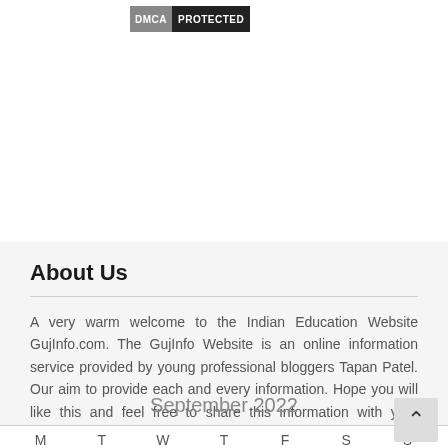[Figure (logo): DMCA Protected badge — grey DMCA label on left, black PROTECTED label on right]
About Us
A very warm welcome to the Indian Education Website GujInfo.com. The GujInfo Website is an online information service provided by young professional bloggers Tapan Patel. Our aim to provide each and every information. Hope you will like this and feel free to share this information with your friends.
September 2022
| M | T | W | T | F | S | S |
| --- | --- | --- | --- | --- | --- | --- |